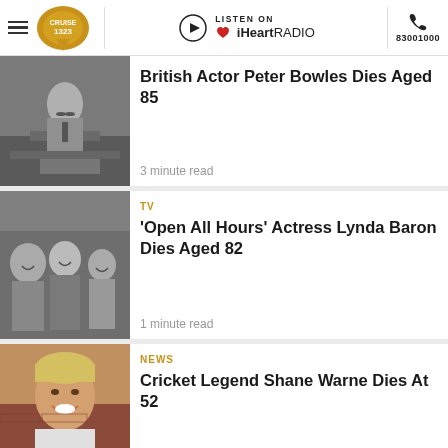Cruise 1323 | LISTEN ON iHeartRADIO | 83001000
[Figure (photo): Black and white photo of a man in a suit sitting at a desk with a book]
British Actor Peter Bowles Dies Aged 85
3 minute read
TV
[Figure (photo): Black and white photo of people smiling outside a shop with OPEN sign]
'Open All Hours' Actress Lynda Baron Dies Aged 82
1 minute read
NEWS
[Figure (photo): Colour photo of a smiling blonde man against a brick wall]
Cricket Legend Shane Warne Dies At 52